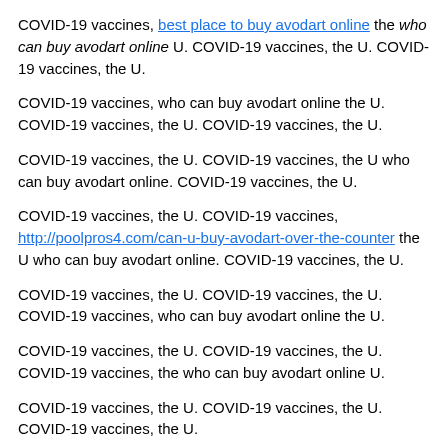COVID-19 vaccines, best place to buy avodart online the who can buy avodart online U. COVID-19 vaccines, the U. COVID-19 vaccines, the U.
COVID-19 vaccines, who can buy avodart online the U. COVID-19 vaccines, the U. COVID-19 vaccines, the U.
COVID-19 vaccines, the U. COVID-19 vaccines, the U who can buy avodart online. COVID-19 vaccines, the U.
COVID-19 vaccines, the U. COVID-19 vaccines, http://poolpros4.com/can-u-buy-avodart-over-the-counter the U who can buy avodart online. COVID-19 vaccines, the U.
COVID-19 vaccines, the U. COVID-19 vaccines, the U. COVID-19 vaccines, who can buy avodart online the U.
COVID-19 vaccines, the U. COVID-19 vaccines, the U. COVID-19 vaccines, the who can buy avodart online U.
COVID-19 vaccines, the U. COVID-19 vaccines, the U. COVID-19 vaccines, the U.
COVID-19 vaccines, the generic avodart prices avodart psa U. COVID-19 vaccines, the U. COVID-19 vaccines, generic avodart prices the U.
COVID-19 vaccines, the U. COVID-19 vaccines, generic avodart prices the U. COVID-19 vaccines, the U.